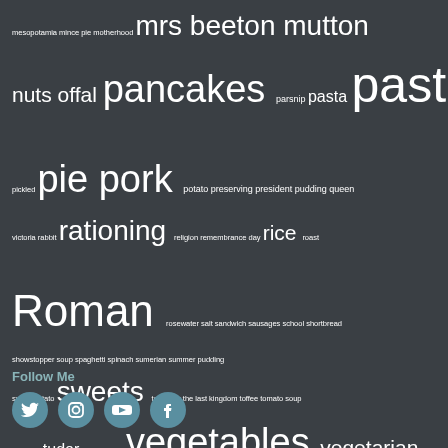mesopotamia mince pie motherhood mrs beeton mutton nuts offal pancakes parsnip pasta pastry persian pickled pie pork potato preserving president pudding queen victoria rabbit rationing religion remembrance day rice roast Roman rosewater salt sandwich sausages school shortbread showstopper soup spaghetti spinach sumerian summer pudding sweet potato sweets tea party the last kingdom toffee tomato soup trenches tudor twelfth night vegetables vegetarian victorian Wales wine world war one world war two writing ww2
Follow Me
[Figure (other): Social media icons: Twitter, Instagram, YouTube, Facebook]